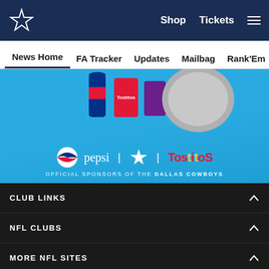Dallas Cowboys navigation header with logo, Shop, Tickets links and hamburger menu
News Home | FA Tracker | Updates | Mailbag | Rank'Em | Cowbuz
[Figure (photo): Pepsi and Tostitos advertisement banner — Official Sponsors of the Dallas Cowboys, shown on a blue background with product images and logos]
CLUB LINKS
NFL CLUBS
MORE NFL SITES
Download apps
[Figure (screenshot): App Store and Google Play download buttons]
[Figure (infographic): Social media icons: Facebook, Twitter, Email, Link]